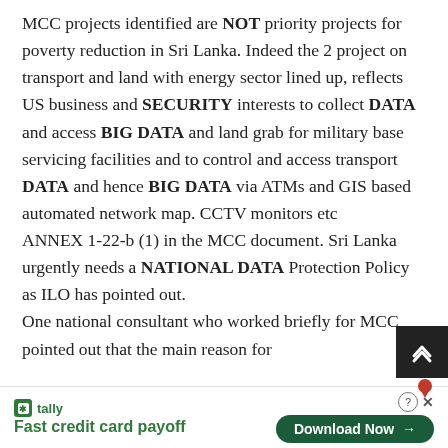MCC projects identified are NOT priority projects for poverty reduction in Sri Lanka. Indeed the 2 project on transport and land with energy sector lined up, reflects US business and SECURITY interests to collect DATA and access BIG DATA and land grab for military base servicing facilities and to control and access transport DATA and hence BIG DATA via ATMs and GIS based automated network map. CCTV monitors etc ANNEX 1-22-b (1) in the MCC document. Sri Lanka urgently needs a NATIONAL DATA Protection Policy as ILO has pointed out. One national consultant who worked briefly for MCC pointed out that the main reason for
[Figure (screenshot): Advertisement banner: Tally app - Fast credit card payoff, with Download Now button, help icon, and close button]